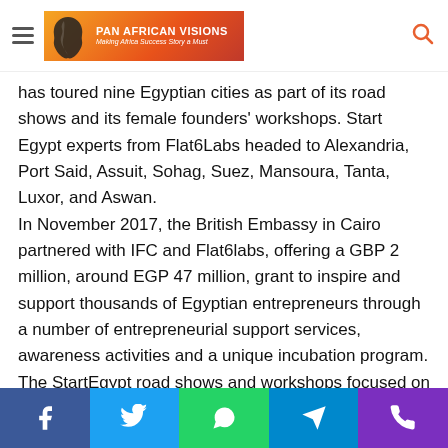Pan African Visions — navigation bar with hamburger menu, logo, and search icon
has toured nine Egyptian cities as part of its road shows and its female founders' workshops. Start Egypt experts from Flat6Labs headed to Alexandria, Port Said, Assuit, Sohag, Suez, Mansoura, Tanta, Luxor, and Aswan.
In November 2017, the British Embassy in Cairo partnered with IFC and Flat6labs, offering a GBP 2 million, around EGP 47 million, grant to inspire and support thousands of Egyptian entrepreneurs through a number of entrepreneurial support services, awareness activities and a unique incubation program.
The StartEgypt road shows and workshops focused on building the resilience and know-how of future entrepreneurs to help them start their own business, attract investments,
Social share buttons: Facebook, Twitter, WhatsApp, Telegram, Phone